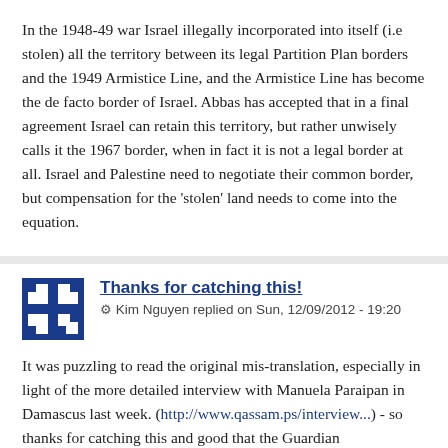In the 1948-49 war Israel illegally incorporated into itself (i.e stolen) all the territory between its legal Partition Plan borders and the 1949 Armistice Line, and the Armistice Line has become the de facto border of Israel. Abbas has accepted that in a final agreement Israel can retain this territory, but rather unwisely calls it the 1967 border, when in fact it is not a legal border at all. Israel and Palestine need to negotiate their common border, but compensation for the 'stolen' land needs to come into the equation.
Thanks for catching this!
Kim Nguyen replied on Sun, 12/09/2012 - 19:20
It was puzzling to read the original mis-translation, especially in light of the more detailed interview with Manuela Paraipan in Damascus last week. (http://www.qassam.ps/interview...) - so thanks for catching this and good that the Guardian